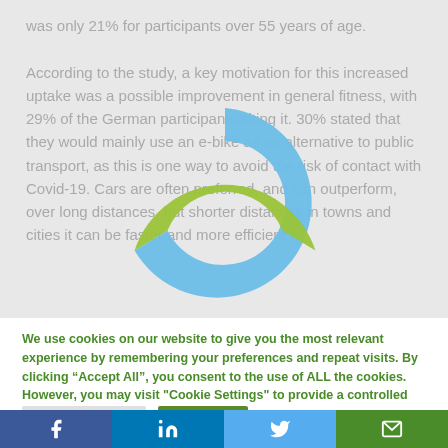was only 21% for participants over 55 years of age.
According to the study, a key motivation for this increased uptake was a possible improvement in general fitness, with 29% of the German participants citing it. 30% stated that they would mainly use an e-bike as an alternative to public transport, as this is one way to avoid the risk of contact with Covid-19. Cars are often preferred, and can outperform, over long distances, but shorter distances in towns and cities it can be faster and more efficient to
[Figure (donut-chart): A donut chart with a blue upper portion and green lower portion, partially overlapping the article text]
We use cookies on our website to give you the most relevant experience by remembering your preferences and repeat visits. By clicking “Accept All”, you consent to the use of ALL the cookies. However, you may visit "Cookie Settings" to provide a controlled consent.
Cookie Settings   Accept All